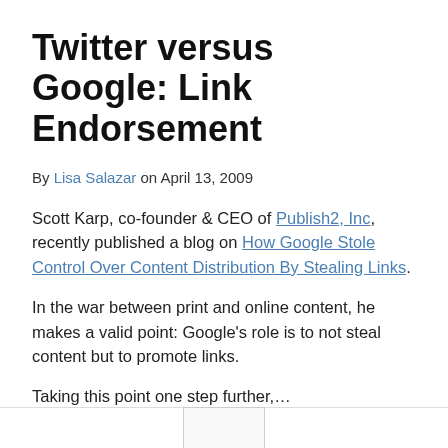Twitter versus Google: Link Endorsement
By Lisa Salazar on April 13, 2009
Scott Karp, co-founder & CEO of Publish2, Inc, recently published a blog on How Google Stole Control Over Content Distribution By Stealing Links.
In the war between print and online content, he makes a valid point: Google's role is to not steal content but to promote links.
Taking this point one step further,...